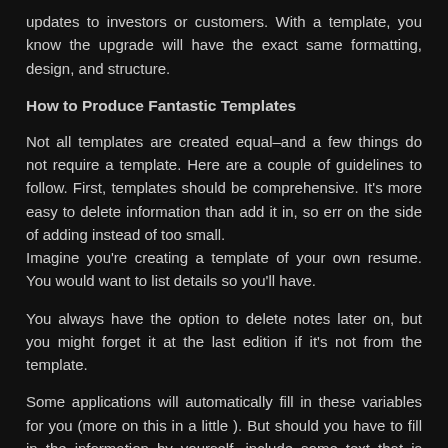updates to investors or customers. With a template, you know the upgrade will have the exact same formatting, design, and structure.
How to Produce Fantastic Templates
Not all templates are created equal–and a few things do not require a template. Here are a couple of guidelines to follow. First, templates should be comprehensive. It's more easy to delete information than add it in, so err on the side of adding instead of too small.
Imagine you're creating a template of your own resume. You would want to list details so you'll have.
You always have the option to delete notes later on, but you might forget it at the last edition if it's not from the template.
Some applications will automatically fill in these variables for you (more on this in a little ). But should you have to fill in the information by yourself, include some text that is obvious and simple to look for so you can find.
Gallery of Free Payroll Template